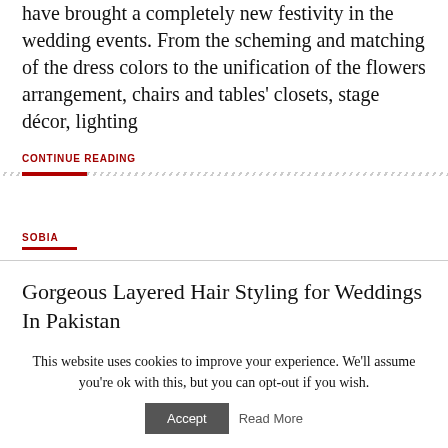have brought a completely new festivity in the wedding events. From the scheming and matching of the dress colors to the unification of the flowers arrangement, chairs and tables' closets, stage décor, lighting
CONTINUE READING
SOBIA
Gorgeous Layered Hair Styling for Weddings In Pakistan
This website uses cookies to improve your experience. We'll assume you're ok with this, but you can opt-out if you wish. Accept Read More